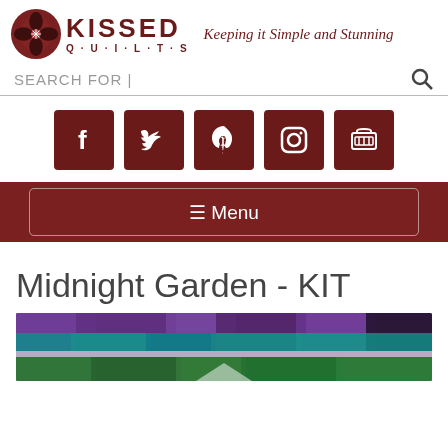[Figure (logo): Kissed Quilts logo with quilt block icon, brand name KISSED QUILTS, and tagline 'Keeping it Simple and Stunning']
SEARCH FOR |
[Figure (infographic): Social media icons row: Facebook, Twitter, Pinterest, Instagram, Shopping cart — all in dark red/maroon square buttons]
☰ Menu
Midnight Garden - KIT
[Figure (photo): Partial view of a quilt with purple, teal, and green batik fabrics arranged in horizontal rows]